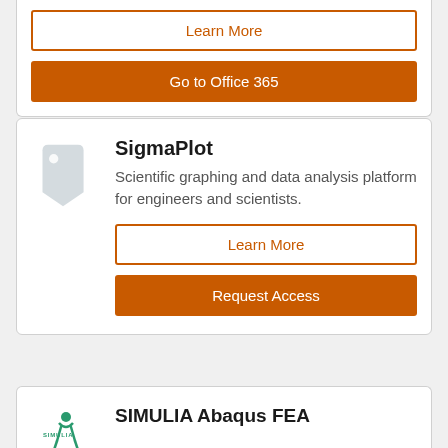[Figure (other): Partial card with Learn More outline button and Go to Office 365 solid button]
Learn More
Go to Office 365
SigmaPlot
Scientific graphing and data analysis platform for engineers and scientists.
Learn More
Request Access
SIMULIA Abaqus FEA